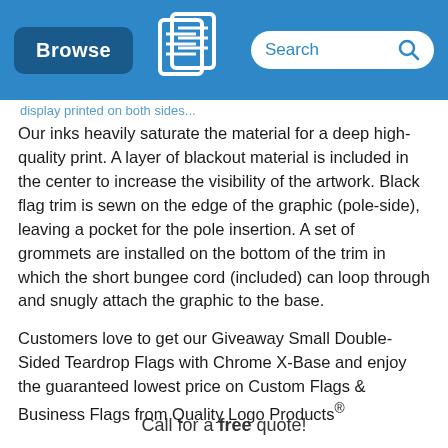Browse | [QLP Logo] | Search
Our inks heavily saturate the material for a deep high-quality print. A layer of blackout material is included in the center to increase the visibility of the artwork. Black flag trim is sewn on the edge of the graphic (pole-side), leaving a pocket for the pole insertion. A set of grommets are installed on the bottom of the trim in which the short bungee cord (included) can loop through and snugly attach the graphic to the base.
Customers love to get our Giveaway Small Double-Sided Teardrop Flags with Chrome X-Base and enjoy the guaranteed lowest price on Custom Flags & Business Flags from Quality Logo Products®
Call for a free quote!